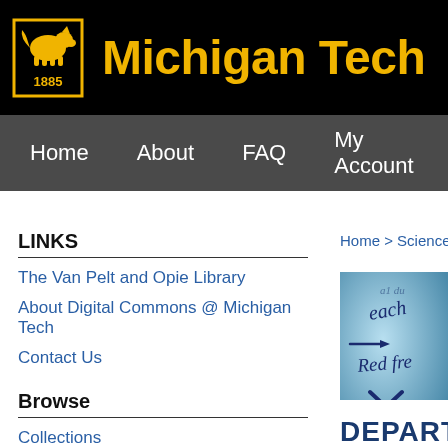[Figure (logo): Michigan Tech logo with wolf and 1885, gold on black, next to text 'Michigan Tech' in gold]
Michigan Tech
Home   About   FAQ   My Account
LINKS
The Van Pelt and Opie Library
About Digital Commons @ Michigan Tech
Contact Us
Browse
Collections
Disciplines
Authors
Home > Sciences and Arts > De
[Figure (photo): Close-up of handwritten text on blue-tinted paper showing cursive writing including 'each', 'Red fre' and an X mark]
DEPARTM